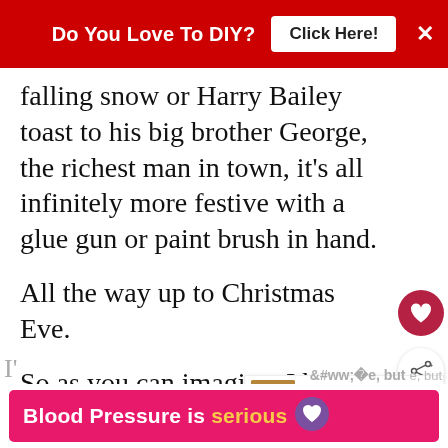[Figure (screenshot): Red banner advertisement: 'Do You Love To DIY? Click Here!' with white close X button]
falling snow or Harry Bailey toast to his big brother George, the richest man in town, it's all infinitely more festive with a glue gun or paint brush in hand.
All the way up to Christmas Eve.
So as you can imagine, I have a lot of Christmas crafts to share.
[Figure (screenshot): Pink/magenta advertisement banner: 'Blood Pressure is serious' with purple heart emoji]